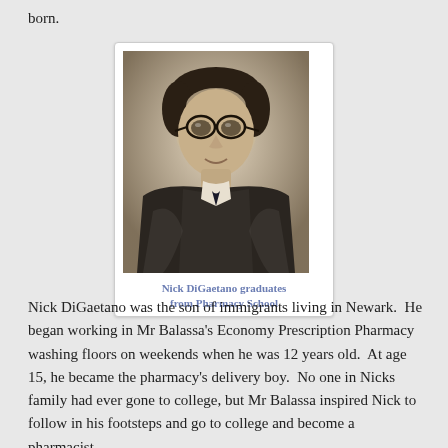born.
[Figure (photo): Black and white portrait photograph of Nick DiGaetano in graduation attire with academic robes and glasses, smiling]
Nick DiGaetano graduates from Pharmacy School
Nick DiGaetano was the son of immigrants living in Newark.  He began working in Mr Balassa's Economy Prescription Pharmacy washing floors on weekends when he was 12 years old.  At age 15, he became the pharmacy's delivery boy.  No one in Nicks family had ever gone to college, but Mr Balassa inspired Nick to follow in his footsteps and go to college and become a pharmacist.